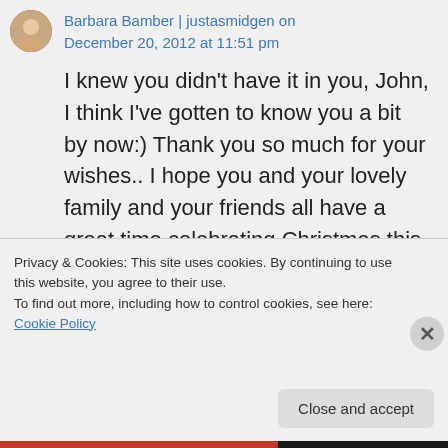Barbara Bamber | justasmidgen on December 20, 2012 at 11:51 pm
I knew you didn't have it in you, John, I think I've gotten to know you a bit by now:) Thank you so much for your wishes.. I hope you and your lovely family and your friends all have a great time celebrating Christmas this year!! 2013 will be better than ever, won't it!? Merry
Privacy & Cookies: This site uses cookies. By continuing to use this website, you agree to their use.
To find out more, including how to control cookies, see here: Cookie Policy
Close and accept